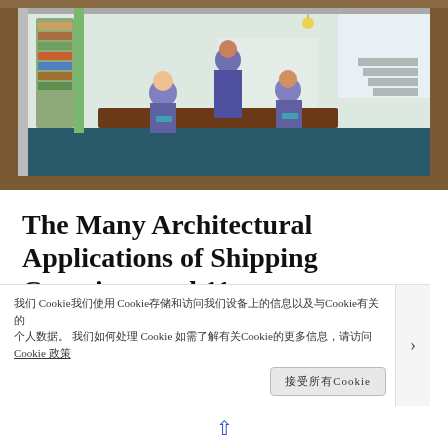[Figure (illustration): A 3D rendered interior of a shipping container converted into an office space, with figures sitting at desks and bookshelves along the walls, viewed from the outside through an opening. The image is framed by a brown/earth-tone border suggesting ground or surrounding material.]
The Many Architectural Applications of Shipping Containers vol.11
Shipping containers are made to be durable. Because of their strength they are also an ideal building material that can be used to build safe homes.
我们 Cookie我们使用 Cookie存储和访问我们设备上的信息以及与Cookie有关的个人数据。 我们如何处理 Cookie 如需了解有关Cookie的更多信息，请访问 Cookie 政策
接受所有Cookie